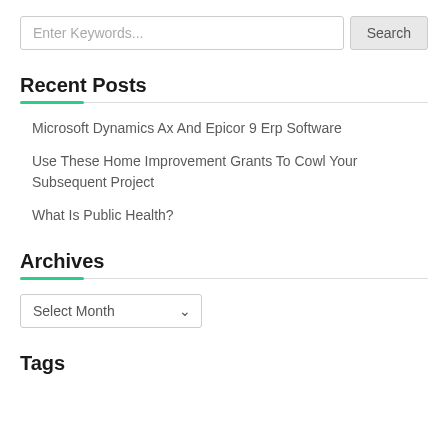[Figure (screenshot): Search bar with text input 'Enter Keywords...' and a 'Search' button]
Recent Posts
Microsoft Dynamics Ax And Epicor 9 Erp Software
Use These Home Improvement Grants To Cowl Your Subsequent Project
What Is Public Health?
Archives
[Figure (screenshot): Dropdown select menu labeled 'Select Month' with a chevron arrow]
Tags